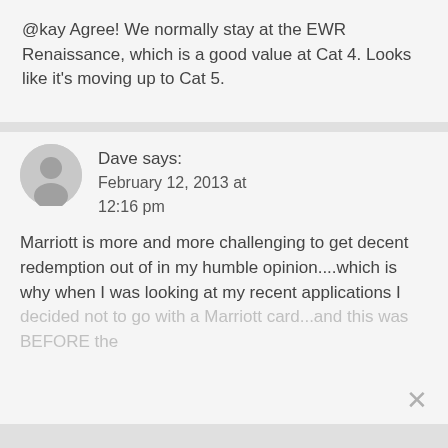@kay Agree! We normally stay at the EWR Renaissance, which is a good value at Cat 4. Looks like it's moving up to Cat 5.
Dave says: February 12, 2013 at 12:16 pm
Marriott is more and more challenging to get decent redemption out of in my humble opinion....which is why when I was looking at my recent applications I decided not to go with a Marriott card...and this was BEFORE the